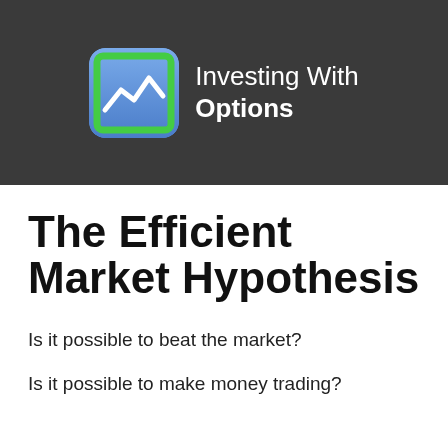[Figure (logo): Investing With Options logo: a blue rounded-square icon with a green border and a white mountain/chart wave shape, next to the text 'Investing With Options' on a dark background]
The Efficient Market Hypothesis
Is it possible to beat the market?
Is it possible to make money trading?